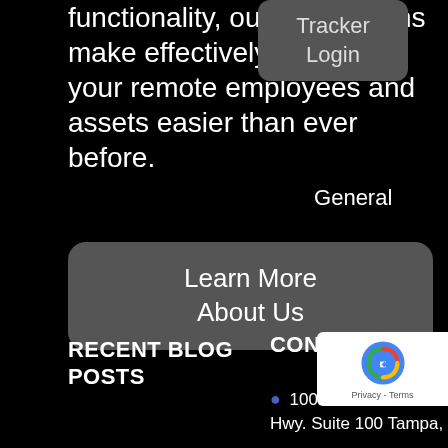functionality, our applications make effectively managing your remote employees and assets easier than ever before.
Tracker Login
General Terms And Conditions
Learn More About Us
RECENT BLOG POSTS
CONTACT US
10006 N. Dale Hwy. Suite 100 Tampa,